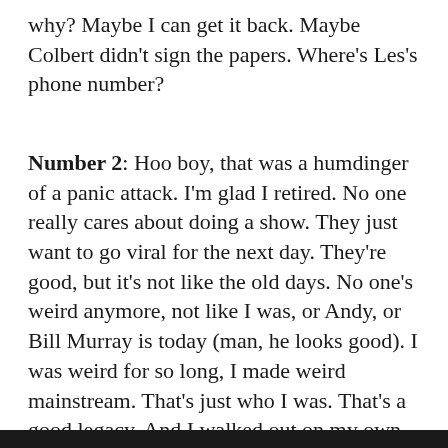why? Maybe I can get it back. Maybe Colbert didn't sign the papers. Where's Les's phone number?
Number 2: Hoo boy, that was a humdinger of a panic attack. I'm glad I retired. No one really cares about doing a show. They just want to go viral for the next day. They're good, but it's not like the old days. No one's weird anymore, not like I was, or Andy, or Bill Murray is today (man, he looks good). I was weird for so long, I made weird mainstream. That's just who I was. That's a good legacy. And I walked out on my own terms. They didn't carry me out. I walked out with the Foo Fighters blaring.